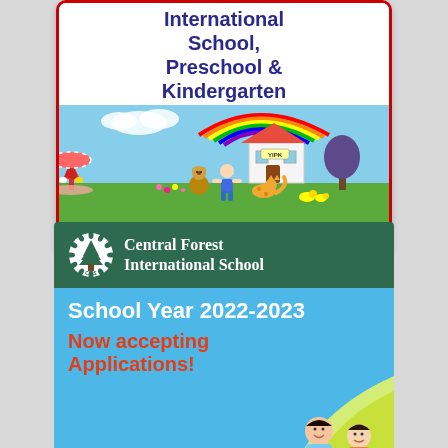[Figure (illustration): YIPK International School Preschool and Kindergarten advertisement card with colorful children's illustration showing a carousel, rainbow, school building labeled YIPK, teddy bear, child and animal figures. Tagline: Through YIPK, we learn and play with the WORLD!!]
[Figure (illustration): Central Forest International School advertisement. Header with school logo and name on dark green background. Below: School Year 2022-2023, Now accepting Applications!, SCHOOL BUS SERVICE TO (cut off). Photo of children studying on the right side.]